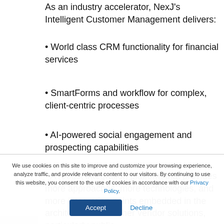As an industry accelerator, NexJ's Intelligent Customer Management delivers:
• World class CRM functionality for financial services
• SmartForms and workflow for complex, client-centric processes
• AI-powered social engagement and prospecting capabilities
• A robust integration platform that provides more approaches, more technologies, and more integration points embedded in the architecture than other vendor solutions, particularly public
We use cookies on this site to improve and customize your browsing experience, analyze traffic, and provide relevant content to our visitors. By continuing to use this website, you consent to the use of cookies in accordance with our Privacy Policy.